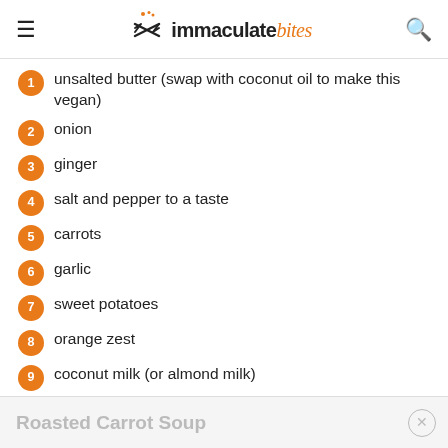immaculate bites
1 unsalted butter (swap with coconut oil to make this vegan)
2 onion
3 ginger
4 salt and pepper to a taste
5 carrots
6 garlic
7 sweet potatoes
8 orange zest
9 coconut milk (or almond milk)
10 vegetable or chicken broth (go for the former if you want this completely vegan)
Roasted Carrot Soup